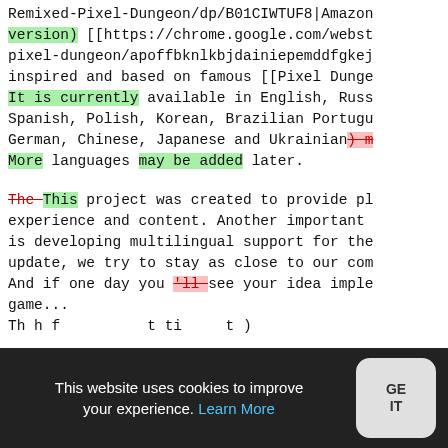Remixed-Pixel-Dungeon/dp/B01CIWTUF8|Amazon version) [[https://chrome.google.com/webst pixel-dungeon/apoffbknlkbjdainiepemddfgkej inspired and based on famous [[Pixel Dunge It is currently available in English, Russ Spanish, Polish, Korean, Brazilian Portugu German, Chinese, Japanese and Ukrainian) m More languages may be added later.
The This project was created to provide pl experience and content. Another important is developing multilingual support for the update, we try to stay as close to our com And if one day you 'll see your idea imple game... Th h f t ti t )
This website uses cookies to improve your experience. Learn More